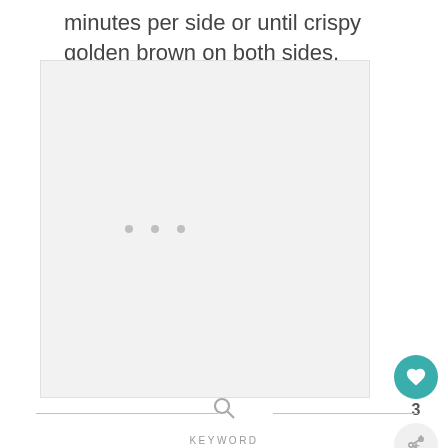minutes per side or until crispy golden brown on both sides.
[Figure (photo): Large image placeholder area with light gray background, showing three small gray dots centered in the middle (image loading indicator)]
[Figure (infographic): Heart/like button (teal circle with white heart icon), like count of 3, and share button below on the right side]
[Figure (infographic): Search bar with horizontal divider lines on both sides, a magnifying glass icon in the center, and KEYWORD text below]